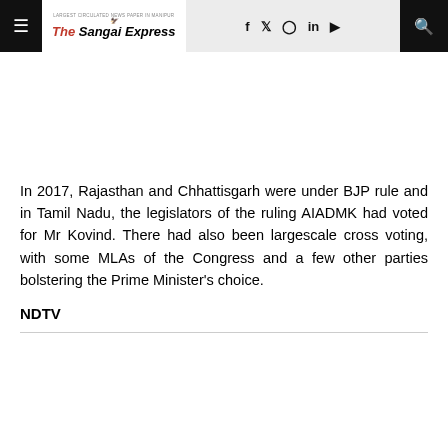The Sangai Express
In 2017, Rajasthan and Chhattisgarh were under BJP rule and in Tamil Nadu, the legislators of the ruling AIADMK had voted for Mr Kovind. There had also been largescale cross voting, with some MLAs of the Congress and a few other parties bolstering the Prime Minister's choice.
NDTV